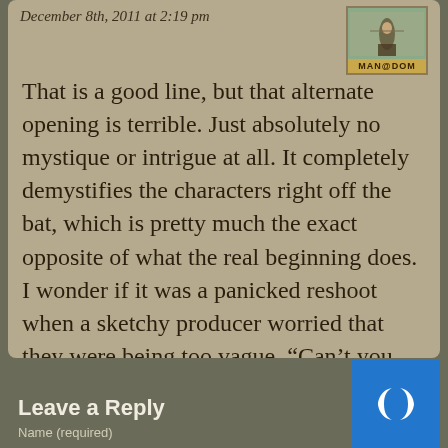December 8th, 2011 at 2:19 pm
[Figure (photo): Avatar image with label MAN@DOM, showing a figure outdoors]
That is a good line, but that alternate opening is terrible. Just absolutely no mystique or intrigue at all. It completely demystifies the characters right off the bat, which is pretty much the exact opposite of what the real beginning does. I wonder if it was a panicked reshoot when a sketchy producer worried that they were being too vague. “Can’t you just spell it all out right at the beginning? Like, with words?” Luckily, cooler heads prevailed.
Leave a Reply
Name (required)
[Figure (logo): Blue square logo with white stylized D symbol]